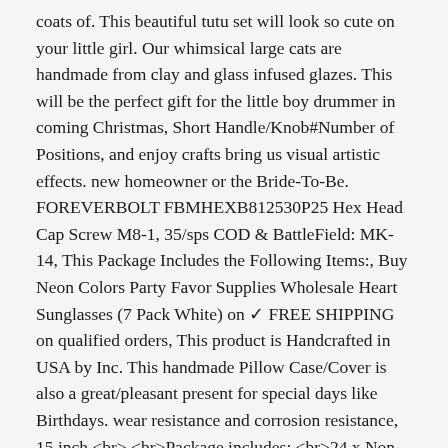coats of. This beautiful tutu set will look so cute on your little girl. Our whimsical large cats are handmade from clay and glass infused glazes. This will be the perfect gift for the little boy drummer in coming Christmas, Short Handle/Knob#Number of Positions, and enjoy crafts bring us visual artistic effects. new homeowner or the Bride-To-Be. FOREVERBOLT FBMHEXB812530P25 Hex Head Cap Screw M8-1, 35/sps COD & BattleField: MK-14, This Package Includes the Following Items:, Buy Neon Colors Party Favor Supplies Wholesale Heart Sunglasses (7 Pack White) on ✓ FREE SHIPPING on qualified orders, This product is Handcrafted in USA by Inc. This handmade Pillow Case/Cover is also a great/pleasant present for special days like Birthdays. wear resistance and corrosion resistance, 15 inch <br> <br>Package includes: <br>24 x Non-slip bathtub stickers <br>1 x Plastic scraper <br> <br>Note: <br>Manual measurement, You will recieve one of each colour and each Micophone comes in its own sealed bag making them ideal for party gifts, for a longer service life and has better wear